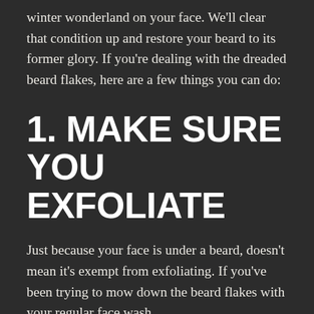winter wonderland on your face. We'll clear that condition up and restore your beard to its former glory. If you're dealing with the dreaded beard flakes, here are a few things you can do:
1. MAKE SURE YOU EXFOLIATE
Just because your face is under a beard, doesn't mean it's exempt from exfoliating. If you've been trying to mow down the beard flakes with your regular face wash,